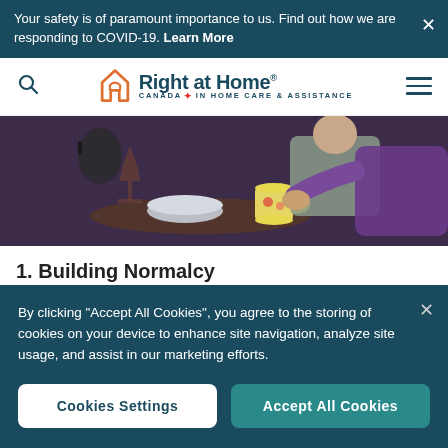Your safety is of paramount importance to us. Find out how we are responding to COVID-19. Learn More
[Figure (logo): Right at Home Canada — In Home Care & Assistance logo with orange house icon]
[Figure (photo): Two seniors sitting together indoors, one holding a mug, with a bowl of food on a tray table]
1. Building Normalcy
By clicking "Accept All Cookies", you agree to the storing of cookies on your device to enhance site navigation, analyze site usage, and assist in our marketing efforts.